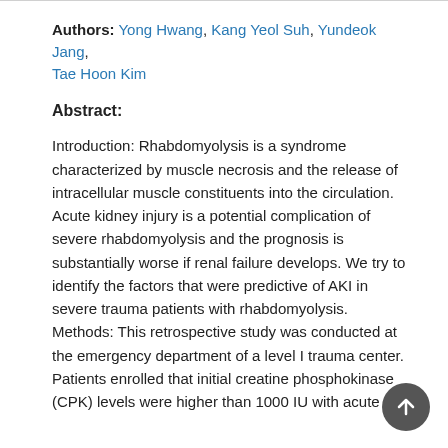Authors: Yong Hwang, Kang Yeol Suh, Yundeok Jang, Tae Hoon Kim
Abstract:
Introduction: Rhabdomyolysis is a syndrome characterized by muscle necrosis and the release of intracellular muscle constituents into the circulation. Acute kidney injury is a potential complication of severe rhabdomyolysis and the prognosis is substantially worse if renal failure develops. We try to identify the factors that were predictive of AKI in severe trauma patients with rhabdomyolysis. Methods: This retrospective study was conducted at the emergency department of a level I trauma center. Patients enrolled that initial creatine phosphokinase (CPK) levels were higher than 1000 IU with acute